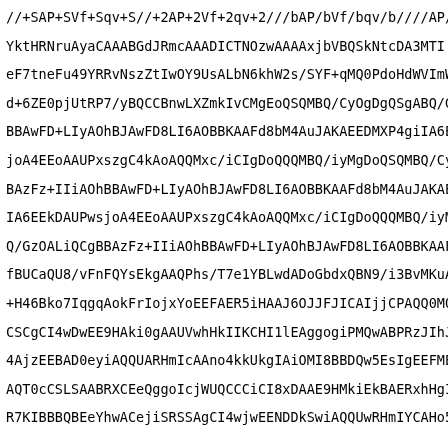//+SAP+SVf+Sqv+S//+2AP+2Vf+2qv+2///bAP/bVf/bqv/b////AP/
YktHRNruAyaCAAABGdJRmcAAADICTNOzwAAAAxjbVBQSkNtcDA3MTI
eF7tneFu49YRRvNszZtIwOY9UsALbN6khW2s/SYF+qMQ0PdoHdWVImW
d+6ZE0pjUtRP7/yBQCCBnwLXZmkIvCMgEoQSQMBQ/CyOgDgQSgABQ/G
BBAwFD+LIyAOhBJAwFD8LI6AOBBKAAFd8bM4AuJAKAEEDMXP4giIA6E
joA4EEoAAUPxszgC4kAoAQQMxc/iCIgDoQQQMBQ/iyMgDoQSQMBQ/Cy
BAzFz+IIiAOhBBAwFD+LIyAOhBJAwFD8LI6AOBBKAAFd8bM4AuJAKAE
IA6EEkDAUPwsjoA4EEoAAUPxszgC4kAoAQQMxc/iCIgDoQQQMBQ/iyM
Q/GzOALiQCgBBAzFz+IIiAOhBBAwFD+LIyAOhBJAwFD8LI6AOBBKAAF
fBUCaQU8/vFnFQYsEkgAAQPhs/T7e1YBLwdADoGbdxQBN9/i3BvMKuA
+H46Bko7IqgqAokFrIojxYoEEFAER5iHAAJ6OJJFJICAIjjCPAQQ0MO
CSCgCI4wDwEE9HAki0gAAUVwhHkIIKCHI1lEAggogiPMQwABPRzJIhJ
4AjzEEBAD0eyiAQQUARHmIcAAno4kkUkgIAiOMI8BBDQw5EsIgEEFME
AQT0cCSLSAABRXCEeQggoIcjWUQCCCiCI8xDAAE9HMkiEkBAERxhHgI
R7KIBBBQBEeYhwACejiSRSSAgCI4wjwEENDDkSwiAQQUwRHmIYCAHo5